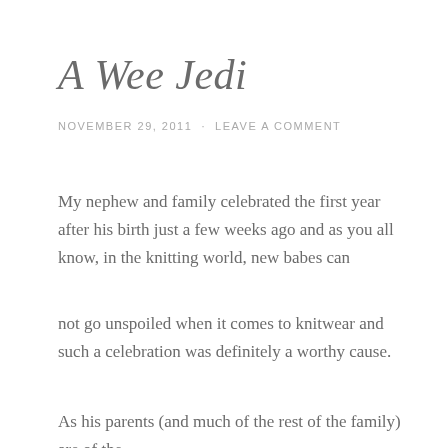A Wee Jedi
NOVEMBER 29, 2011  ·  LEAVE A COMMENT
My nephew and family celebrated the first year after his birth just a few weeks ago and as you all know, in the knitting world, new babes can
not go unspoiled when it comes to knitwear and such a celebration was definitely a worthy cause.
As his parents (and much of the rest of the family) are of the